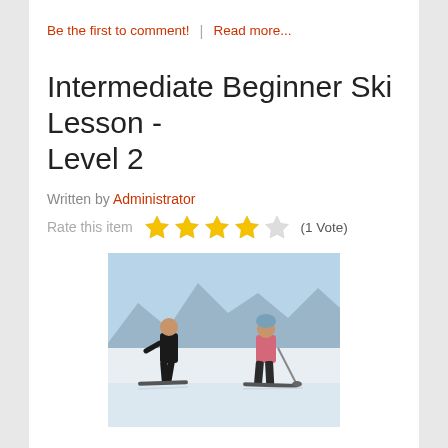Be the first to comment!  |  Read more...
Intermediate Beginner Ski Lesson - Level 2
Written by Administrator
Rate this item  ★★★★☆  (1 Vote)
[Figure (photo): Two skiers on a snowy slope — an instructor in black on the left and a student in pink jacket and hat on the right, with ski poles, mountains in background.]